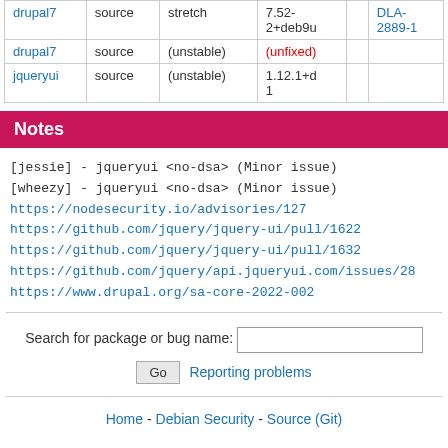| Package | Type | Release | Version | Advisory |
| --- | --- | --- | --- | --- |
| drupal7 | source | stretch | 7.52-2+deb9u | DLA-2889-1 |
| drupal7 | source | (unstable) | (unfixed) |  |
| jqueryui | source | (unstable) | 1.12.1+d 1 |  |
Notes
[jessie] - jqueryui <no-dsa> (Minor issue)
[wheezy] - jqueryui <no-dsa> (Minor issue)
https://nodesecurity.io/advisories/127
https://github.com/jquery/jquery-ui/pull/1622
https://github.com/jquery/jquery-ui/pull/1632
https://github.com/jquery/api.jqueryui.com/issues/28
https://www.drupal.org/sa-core-2022-002
Search for package or bug name:
Go  Reporting problems
Home - Debian Security - Source (Git)